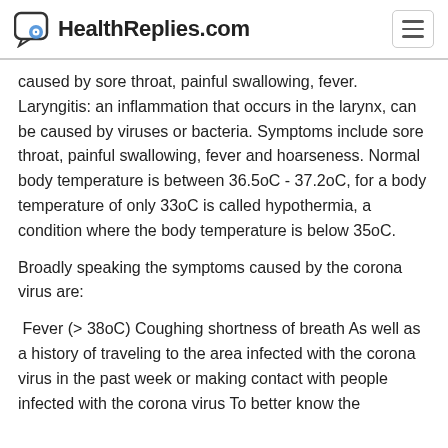HealthReplies.com
caused by sore throat, painful swallowing, fever. Laryngitis: an inflammation that occurs in the larynx, can be caused by viruses or bacteria. Symptoms include sore throat, painful swallowing, fever and hoarseness. Normal body temperature is between 36.5oC - 37.2oC, for a body temperature of only 33oC is called hypothermia, a condition where the body temperature is below 35oC.
Broadly speaking the symptoms caused by the corona virus are:
Fever (> 38oC) Coughing shortness of breath As well as a history of traveling to the area infected with the corona virus in the past week or making contact with people infected with the corona virus To better know the